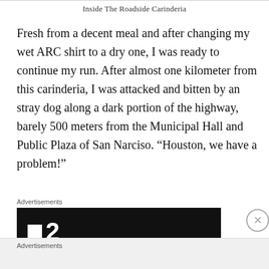Inside The Roadside Carinderia
Fresh from a decent meal and after changing my wet ARC shirt to a dry one, I was ready to continue my run. After almost one kilometer from this carinderia, I was attacked and bitten by an stray dog along a dark portion of the highway, barely 500 meters from the Municipal Hall and Public Plaza of San Narciso. “Houston, we have a problem!”
Advertisements
[Figure (logo): Black advertisement banner with white square icon and number 2, resembling a TV channel logo]
Advertisements